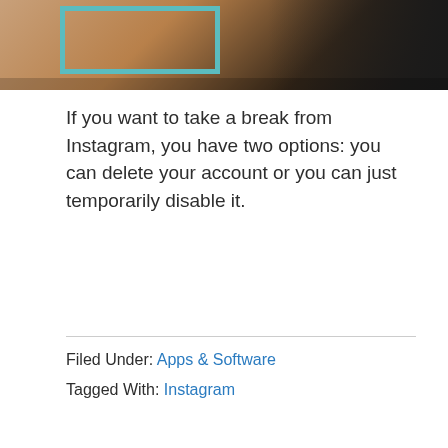[Figure (photo): Partial view of a smartphone screen with colorful app icons, overlaid with a teal/cyan rectangle outline in the top-left corner. Dark background with warm tones.]
If you want to take a break from Instagram, you have two options: you can delete your account or you can just temporarily disable it.
Filed Under: Apps & Software
Tagged With: Instagram
Whatsapp not working: How